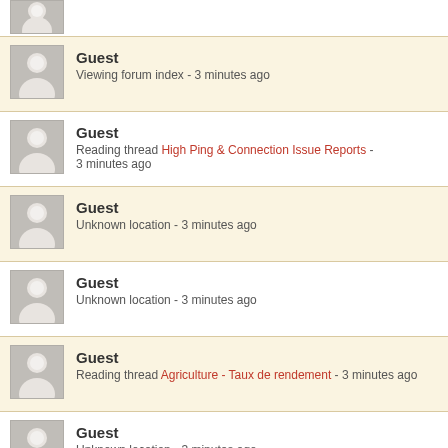Guest
Guest - Viewing forum index - 3 minutes ago
Guest - Reading thread High Ping & Connection Issue Reports - 3 minutes ago
Guest - Unknown location - 3 minutes ago
Guest - Unknown location - 3 minutes ago
Guest - Reading thread Agriculture - Taux de rendement - 3 minutes ago
Guest - Unknown location - 3 minutes ago
Guest